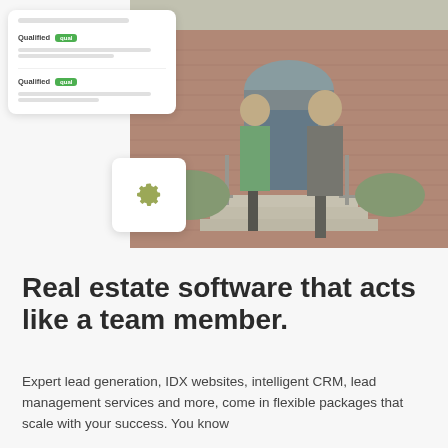[Figure (screenshot): A composite image showing a real estate software UI overlay on the left (showing 'Qualified' badges with green labels and gray placeholder lines) over a photograph of two people shaking hands outside a brick house. A white card with a gear/settings icon appears in the lower left of the image area.]
Real estate software that acts like a team member.
Expert lead generation, IDX websites, intelligent CRM, lead management services and more, come in flexible packages that scale with your success. You know